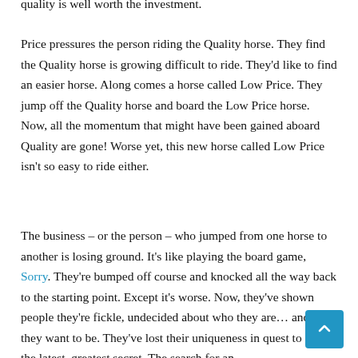quality is well worth the investment.
Price pressures the person riding the Quality horse. They find the Quality horse is growing difficult to ride. They'd like to find an easier horse. Along comes a horse called Low Price. They jump off the Quality horse and board the Low Price horse. Now, all the momentum that might have been gained aboard Quality are gone! Worse yet, this new horse called Low Price isn't so easy to ride either.
The business – or the person – who jumped from one horse to another is losing ground. It's like playing the board game, Sorry. They're bumped off course and knocked all the way back to the starting point. Except it's worse. Now, they've shown people they're fickle, undecided about who they are… and who they want to be. They've lost their uniqueness in quest to find the latest, greatest secret. The search for an